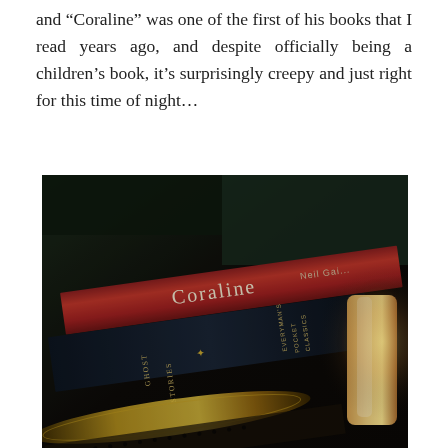and “Coraline” was one of the first of his books that I read years ago, and despite officially being a children’s book, it’s surprisingly creepy and just right for this time of night…
[Figure (photo): A close-up photograph of books stacked together in dim candlelight. The topmost book has a red spine with white text reading 'Coraline' and 'Neil Gaiman'. Below it is a dark navy/black book spine reading 'GHOST STORIES'. Another dark book spine reads 'EVERYMAN'S POCKET CLASSICS'. A glowing candle is visible on the right side of the image, illuminating the scene with warm golden light. The overall mood is dark and atmospheric.]